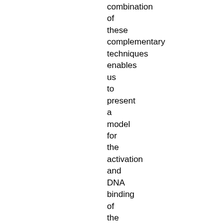combination of these complementary techniques enables us to present a model for the activation and DNA binding of the Fur protein.